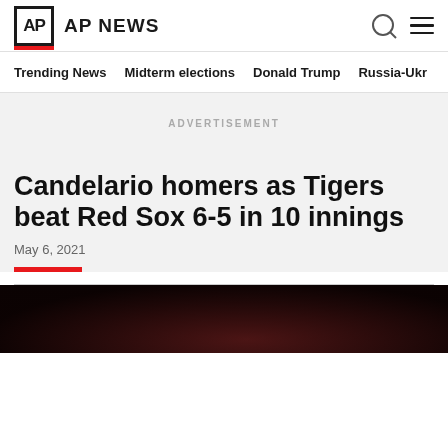AP NEWS
Trending News   Midterm elections   Donald Trump   Russia-Ukr
ADVERTISEMENT
Candelario homers as Tigers beat Red Sox 6-5 in 10 innings
May 6, 2021
[Figure (photo): Dark photograph, partial view of a person, dark red background]